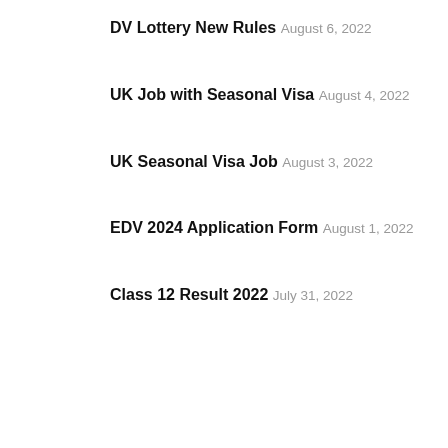DV Lottery New Rules
August 6, 2022
UK Job with Seasonal Visa
August 4, 2022
UK Seasonal Visa Job
August 3, 2022
EDV 2024 Application Form
August 1, 2022
Class 12 Result 2022
July 31, 2022